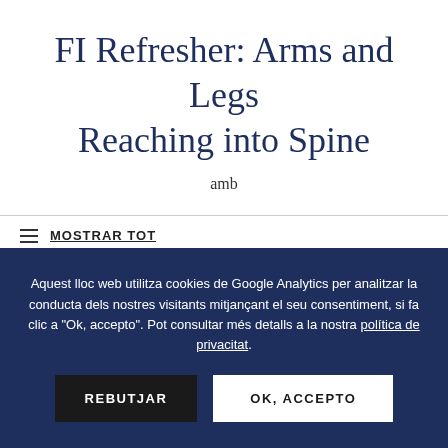FI Refresher: Arms and Legs Reaching into Spine
amb
≡ MOSTRAR TOT
Aquest lloc web utilitza cookies de Google Analytics per analitzar la conducta dels nostres visitants mitjançant el seu consentiment, si fa clic a "Ok, accepto". Pot consultar més detalls a la nostra política de privacitat.
REBUTJAR
OK, ACCEPTO